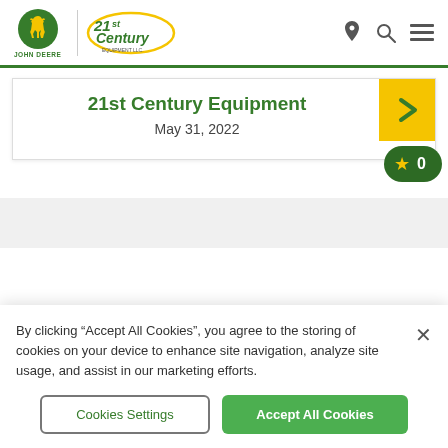[Figure (logo): John Deere logo with leaping deer in green oval, text JOHN DEERE below, and 21st Century Equipment Inc. logo in green and gold]
21st Century Equipment
May 31, 2022
By clicking “Accept All Cookies”, you agree to the storing of cookies on your device to enhance site navigation, analyze site usage, and assist in our marketing efforts.
Cookies Settings
Accept All Cookies